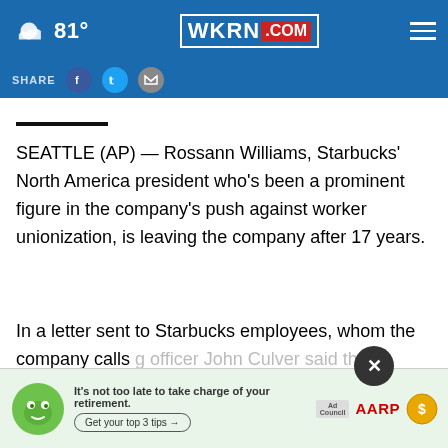81° WKRN.COM
SHARE
SEATTLE (AP) — Rossann Williams, Starbucks' North America president who's been a prominent figure in the company's push against worker unionization, is leaving the company after 17 years.
In a letter sent to Starbucks employees, whom the company calls [CONTINUE READING overlay] g officer John Culver said the [faded] dishable" and
[Figure (screenshot): CONTINUE READING button overlay in blue]
[Figure (infographic): AARP retirement ad banner at bottom: It's not too late to take charge of your retirement. Get your top 3 tips →]